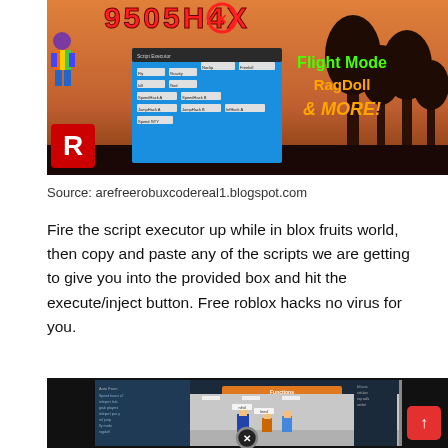[Figure (screenshot): Roblox game cheat/hack promotional banner showing game title in red, a UI menu window in blue, Roblox character figure, R logo, and text 'Flight Mode RagDoll & MORE!' in green and orange on a sunset background]
Source: arefreerobuxcodereal1.blogspot.com
Fire the script executor up while in blox fruits world, then copy and paste any of the scripts we are getting to give you into the provided box and hit the execute/inject button. Free roblox hacks no virus for you.
[Figure (screenshot): Roblox game screenshot showing characters in a lobby/game area with a cheat menu UI overlay, orange header bar, and a red scroll-to-top button on the right side]